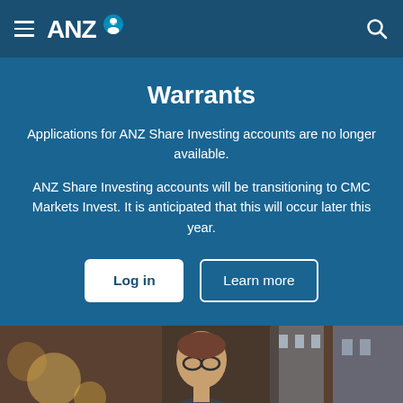ANZ - Navigation bar with hamburger menu, ANZ logo, and search icon
Warrants
Applications for ANZ Share Investing accounts are no longer available.
ANZ Share Investing accounts will be transitioning to CMC Markets Invest. It is anticipated that this will occur later this year.
Log in | Learn more
[Figure (photo): Photo of a woman wearing glasses in a blurred outdoor setting]